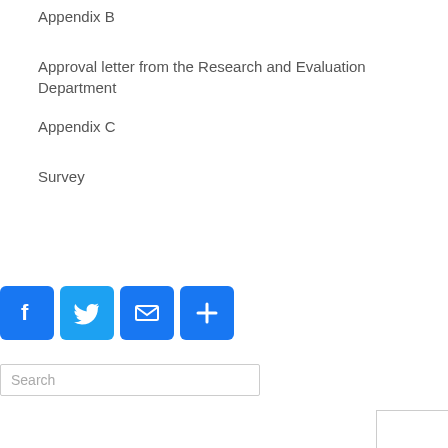Appendix B
Approval letter from the Research and Evaluation Department
Appendix C
Survey
[Figure (other): Social media share buttons: Facebook, Twitter, Email, and a plus/more button]
[Figure (other): Search input field with placeholder text 'Search']
[Figure (other): Partial white box in bottom right corner]